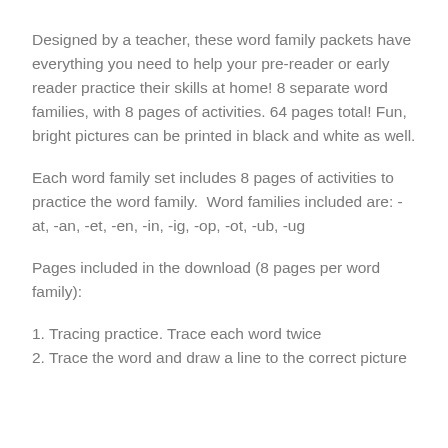Designed by a teacher, these word family packets have everything you need to help your pre-reader or early reader practice their skills at home! 8 separate word families, with 8 pages of activities. 64 pages total! Fun, bright pictures can be printed in black and white as well.
Each word family set includes 8 pages of activities to practice the word family.  Word families included are: -at, -an, -et, -en, -in, -ig, -op, -ot, -ub, -ug
Pages included in the download (8 pages per word family):
1. Tracing practice. Trace each word twice
2. Trace the word and draw a line to the correct picture